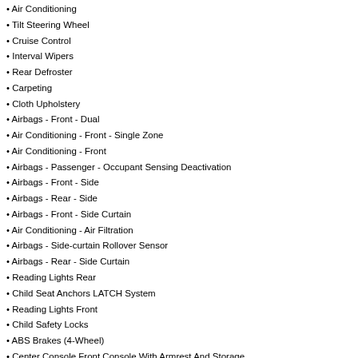Air Conditioning
Tilt Steering Wheel
Cruise Control
Interval Wipers
Rear Defroster
Carpeting
Cloth Upholstery
Airbags - Front - Dual
Air Conditioning - Front - Single Zone
Air Conditioning - Front
Airbags - Passenger - Occupant Sensing Deactivation
Airbags - Front - Side
Airbags - Rear - Side
Airbags - Front - Side Curtain
Air Conditioning - Air Filtration
Airbags - Side-curtain Rollover Sensor
Airbags - Rear - Side Curtain
Reading Lights Rear
Child Seat Anchors LATCH System
Reading Lights Front
Child Safety Locks
ABS Brakes (4-Wheel)
Center Console Front Console With Armrest And Storage
Power Steering
Multi-function Remote Keyless Entry
Driver Seat Manual Adjustments: 4